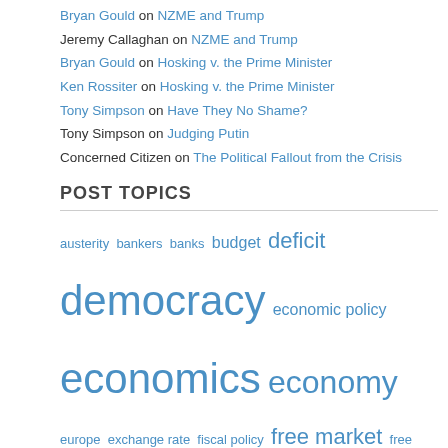Bryan Gould on NZME and Trump
Jeremy Callaghan on NZME and Trump
Bryan Gould on Hosking v. the Prime Minister
Ken Rossiter on Hosking v. the Prime Minister
Tony Simpson on Have They No Shame?
Tony Simpson on Judging Putin
Concerned Citizen on The Political Fallout from the Crisis
POST TOPICS
austerity bankers banks budget deficit democracy economic policy economics economy europe exchange rate fiscal policy free market free trade general election global crisis global economy gordon brown government inequality inflation interest rates jobs john key keynes labour party leadership macro-economic policy maori markets monetarism monetary policy money new